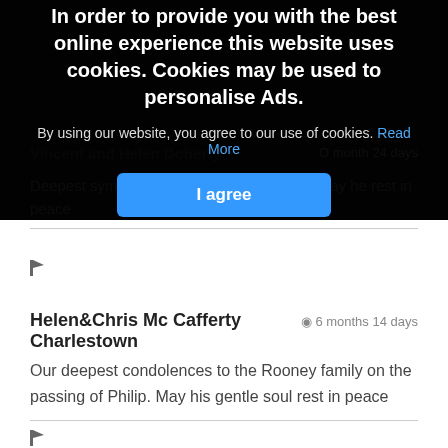[Figure (screenshot): Cookie consent overlay with dark background showing cookie notice text, 'Read More' link, and 'I agree' button in blue]
Vincent and Helen Doherty
Deepest sympathy to ... the passing of Philip may he rest in peace
Helen&Chris Mc Cafferty Charlestown   6 months 14 days
Our deepest condolences to the Rooney family on the passing of Philip. May his gentle soul rest in peace